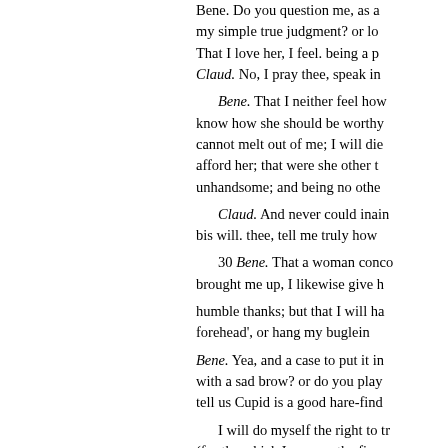Bene. Do you question me, as an honest man should do, for my simple true judgment? or lo... That I love her, I feel. being a p...
Claud. No, I pray thee, speak in sober judgment.
Bene. That I neither feel how she should be worthy, know how she should be worthy, cannot melt out of me; I will die in it at the afford her; that were she other th... unhandsome; and being no othe...
Claud. And never could iain... bis will. thee, tell me truly how...
30 Bene. That a woman conco... brought me up, I likewise give h... humble thanks; but that I will ha... forehead', or hang my buglein...
Bene. Yea, and a case to put it in... with a sad brow? or do you play... tell us Cupid is a good hare-find...
I will do myself the right to tr... (for the which I may go the fine... will live a batchelor. Claud. In m... pale with that I ever looked on...